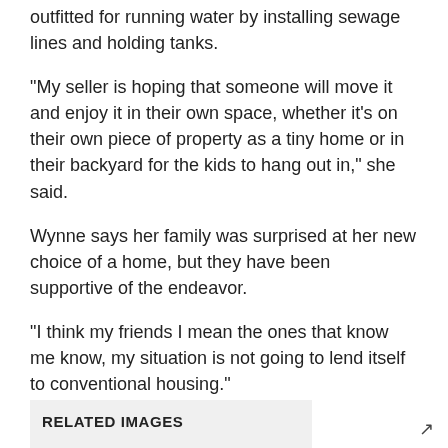outfitted for running water by installing sewage lines and holding tanks.
“My seller is hoping that someone will move it and enjoy it in their own space, whether it's on their own piece of property as a tiny home or in their backyard for the kids to hang out in,” she said.
Wynne says her family was surprised at her new choice of a home, but they have been supportive of the endeavor.
“I think my friends I mean the ones that know me know, my situation is not going to lend itself to conventional housing.”
RELATED IMAGES